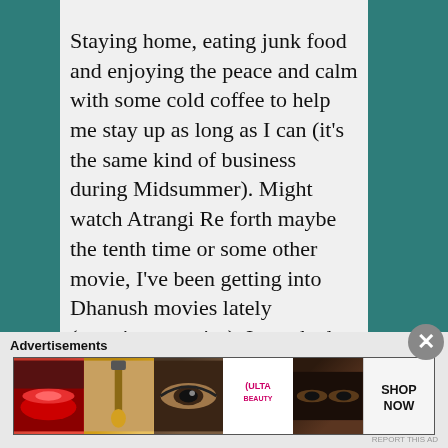Staying home, eating junk food and enjoying the peace and calm with some cold coffee to help me stay up as long as I can (it's the same kind of business during Midsummer). Might watch Atrangi Re forth maybe the tenth time or some other movie, I've been getting into Dhanush movies lately (surprise, surprise). I watched Karnan in the morning, which was very good! And now watching Asuran.
★ Like
Advertisements
[Figure (photo): Advertisement banner showing beauty/makeup products: lips with lipstick, makeup brush, eye with makeup, ULTA beauty logo, eyes with makeup, SHOP NOW text]